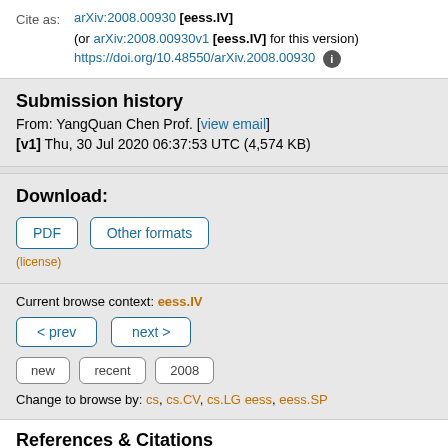Cite as: arXiv:2008.00930 [eess.IV] (or arXiv:2008.00930v1 [eess.IV] for this version) https://doi.org/10.48550/arXiv.2008.00930
Submission history
From: YangQuan Chen Prof. [view email]
[v1] Thu, 30 Jul 2020 06:37:53 UTC (4,574 KB)
Download:
PDF  Other formats
(license)
Current browse context: eess.IV
< prev   next >
new   recent   2008
Change to browse by: cs, cs.CV, cs.LG eess, eess.SP
References & Citations